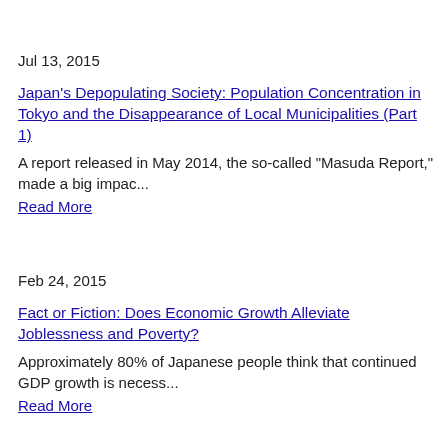Jul 13, 2015
Japan's Depopulating Society: Population Concentration in Tokyo and the Disappearance of Local Municipalities (Part 1)
A report released in May 2014, the so-called "Masuda Report," made a big impac...
Read More
Feb 24, 2015
Fact or Fiction: Does Economic Growth Alleviate Joblessness and Poverty?
Approximately 80% of Japanese people think that continued GDP growth is necess...
Read More